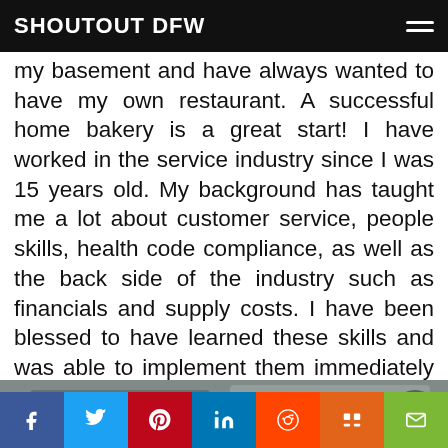SHOUTOUT DFW
my basement and have always wanted to have my own restaurant. A successful home bakery is a great start! I have worked in the service industry since I was 15 years old. My background has taught me a lot about customer service, people skills, health code compliance, as well as the back side of the industry such as financials and supply costs. I have been blessed to have learned these skills and was able to implement them immediately as my business grew instead of learning them.
[Figure (photo): A blurred/out-of-focus photo, appears to be an interior scene.]
Social share bar with: Facebook, Twitter, Pinterest, LinkedIn, Reddit, Mix, Email